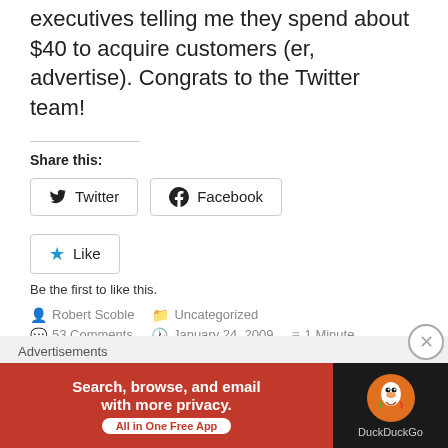executives telling me they spend about $40 to acquire customers (er, advertise). Congrats to the Twitter team!
Share this:
[Figure (other): Share buttons for Twitter and Facebook]
[Figure (other): Like button with star icon]
Be the first to like this.
Robert Scoble   Uncategorized   53 Comments   January 24, 2009   1 Minute
Advertisements
[Figure (other): DuckDuckGo advertisement banner: Search, browse, and email with more privacy. All in One Free App.]